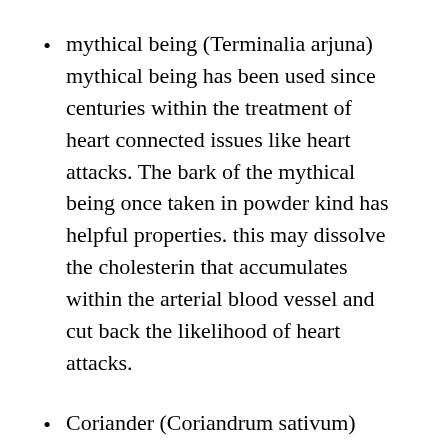mythical being (Terminalia arjuna) mythical being has been used since centuries within the treatment of heart connected issues like heart attacks. The bark of the mythical being once taken in powder kind has helpful properties. this may dissolve the cholesterin that accumulates within the arterial blood vessel and cut back the likelihood of heart attacks.
Coriander (Coriandrum sativum) Coriander may be a excellent diuretic drug. It makes the kidneys perform